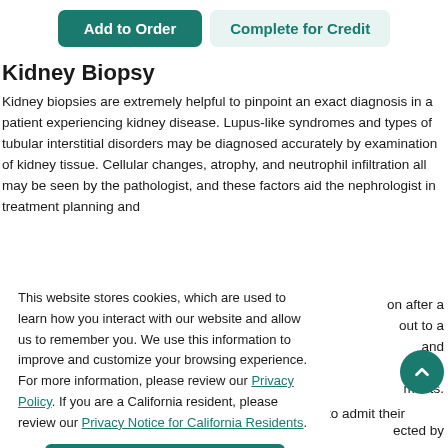[Figure (screenshot): Two buttons: 'Add to Order' (teal/filled) and 'Complete for Credit' (light teal/outlined)]
Kidney Biopsy
Kidney biopsies are extremely helpful to pinpoint an exact diagnosis in a patient experiencing kidney disease. Lupus-like syndromes and types of tubular interstitial disorders may be diagnosed accurately by examination of kidney tissue. Cellular changes, atrophy, and neutrophil infiltration all may be seen by the pathologist, and these factors aid the nephrologist in treatment planning and...
This website stores cookies, which are used to learn how you interact with our website and allow us to remember you. We use this information to improve and customize your browsing experience. For more information, please review our Privacy Policy. If you are a California resident, please review our Privacy Notice for California Residents.
Accept
considerably [43,44]. Many referring physicians prefer to admit their patients